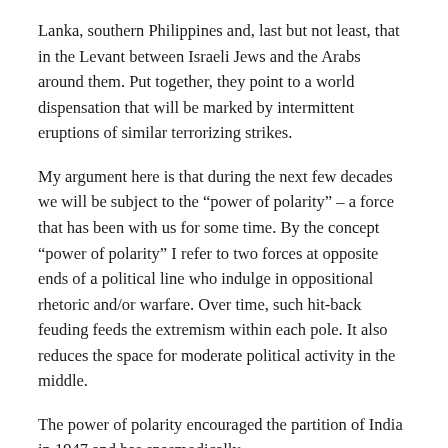Lanka, southern Philippines and, last but not least, that in the Levant between Israeli Jews and the Arabs around them. Put together, they point to a world dispensation that will be marked by intermittent eruptions of similar terrorizing strikes.
My argument here is that during the next few decades we will be subject to the “power of polarity” – a force that has been with us for some time. By the concept “power of polarity” I refer to two forces at opposite ends of a political line who indulge in oppositional rhetoric and/or warfare. Over time, such hit-back feuding feeds the extremism within each pole. It also reduces the space for moderate political activity in the middle.
The power of polarity encouraged the partition of India in 1947 and has spasmodically